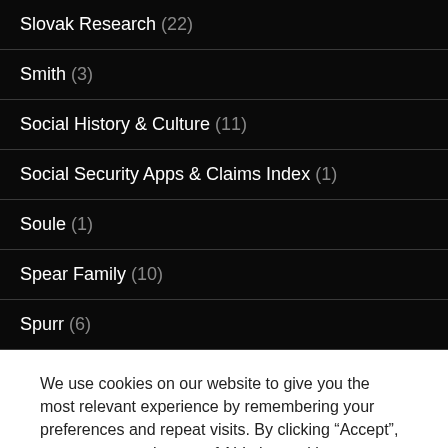Slovak Research (22)
Smith (3)
Social History & Culture (11)
Social Security Apps & Claims Index (1)
Soule (1)
Spear Family (10)
Spurr (6)
We use cookies on our website to give you the most relevant experience by remembering your preferences and repeat visits. By clicking “Accept”, you consent to the use of ALL the cookies.
Do not sell my personal information.
Cookie settings  ACCEPT